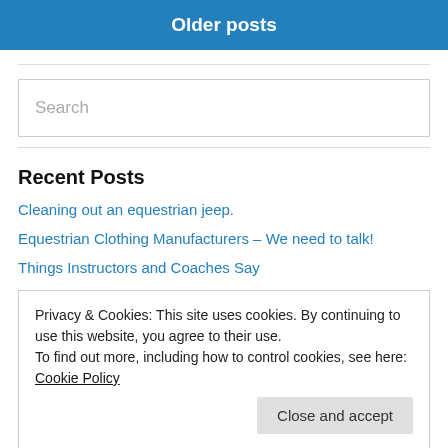Older posts
Search
Recent Posts
Cleaning out an equestrian jeep.
Equestrian Clothing Manufacturers – We need to talk!
Things Instructors and Coaches Say
Privacy & Cookies: This site uses cookies. By continuing to use this website, you agree to their use. To find out more, including how to control cookies, see here: Cookie Policy
Close and accept